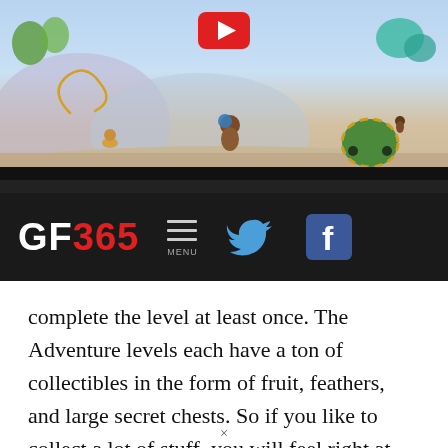[Figure (screenshot): Game screenshot showing cartoon characters in a colorful adventure level with rocky terrain and plants. A YouTube play button overlay is visible at the top center.]
[Figure (screenshot): GF365 website navigation bar with logo, menu icon, Twitter bird icon, and Facebook icon on dark background.]
complete the level at least once. The Adventure levels each have a ton of collectibles in the form of fruit, feathers, and large secret chests. So if you like to collect a lot of stuff, you will feel right at home here. The only minor complaint I have here is that the rewards for the effort do not really feel all that… well… rewarding.